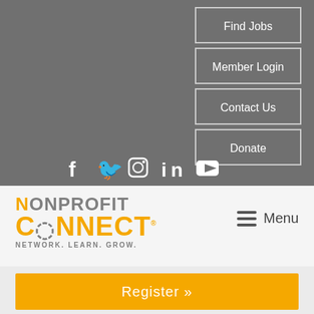Find Jobs
Member Login
Contact Us
Donate
[Figure (logo): Social media icons row: Facebook, Twitter, Instagram, LinkedIn, YouTube]
[Figure (logo): Nonprofit Connect logo with tagline NETWORK. LEARN. GROW.]
Menu
Register »